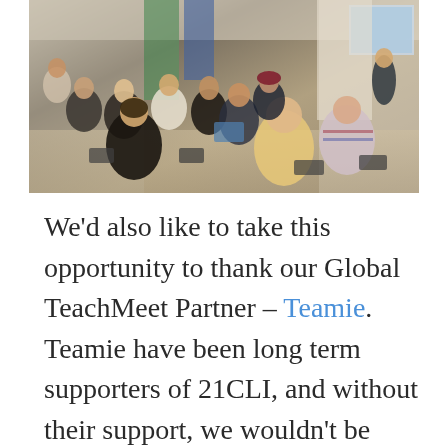[Figure (photo): A group of people seated on folding chairs at what appears to be an educational conference or TeachMeet event. A presenter stands at the front near a screen and banner. Attendees are engaged, some looking at phones or papers.]
We'd also like to take this opportunity to thank our Global TeachMeet Partner – Teamie. Teamie have been long term supporters of 21CLI, and without their support, we wouldn't be